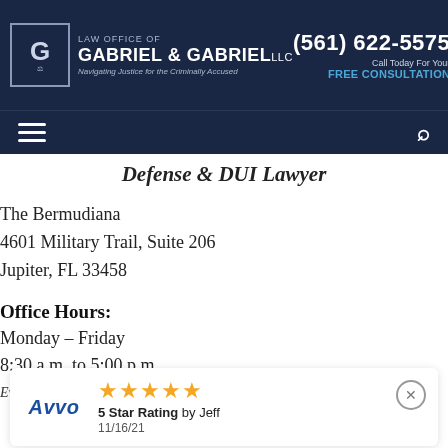Law Office of Gabriel & Gabriel LLC — (561) 622-5575 — Call today for your FREE CONSULTATION
Defense & DUI Lawyer
The Bermudiana
4601 Military Trail, Suite 206
Jupiter, FL 33458
Office Hours:
Monday – Friday
8:30 a.m. to 5:00 p.m
Evening Appointments Available Upon Request
[Figure (other): Avvo 5-star rating widget showing 5 gold stars, '5 Star Rating by Jeff', dated 11/16/21]